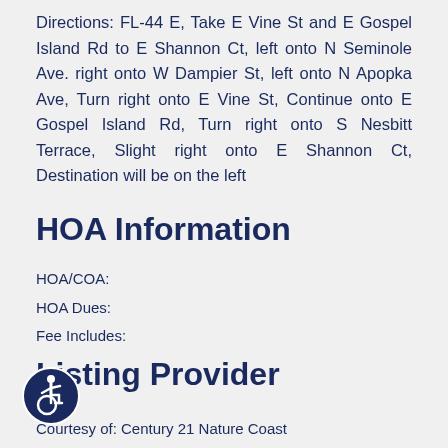Directions: FL-44 E, Take E Vine St and E Gospel Island Rd to E Shannon Ct, left onto N Seminole Ave. right onto W Dampier St, left onto N Apopka Ave, Turn right onto E Vine St, Continue onto E Gospel Island Rd, Turn right onto S Nesbitt Terrace, Slight right onto E Shannon Ct, Destination will be on the left
HOA Information
HOA/COA:
HOA Dues:
Fee Includes:
Listing Provider
Courtesy of: Century 21 Nature Coast